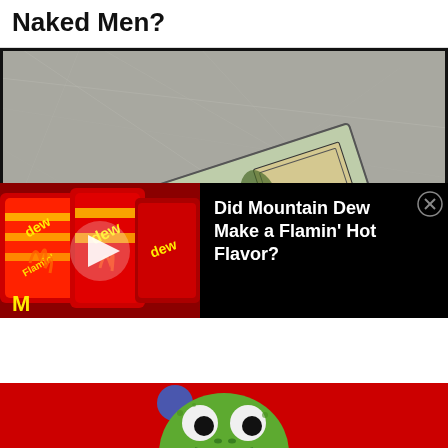Naked Men?
[Figure (photo): A US one dollar bill lying on a scratched metallic surface, showing partial text 'RICA', '9360 C', 'WASHINGTON D.C.', and the number '6']
[Figure (photo): Flamin' Hot Mountain Dew product cans/packaging in red, black, and yellow with play button overlay]
Did Mountain Dew Make a Flamin’ Hot Flavor?
[Figure (photo): Close-up of a green gecko frog face against a red background with blue circular element]